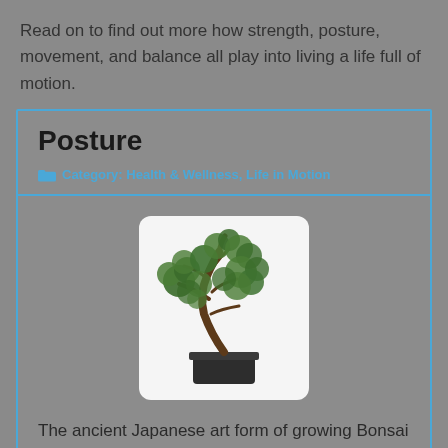Read on to find out more how strength, posture, movement, and balance all play into living a life full of motion.
Posture
Category: Health & Wellness, Life in Motion
[Figure (photo): A bonsai tree in a dark rectangular pot against a white background]
The ancient Japanese art form of growing Bonsai trees is fascinating. Bonsai trees are essentially normal shrubs that have been consistently stressed in a particular way fo... posture